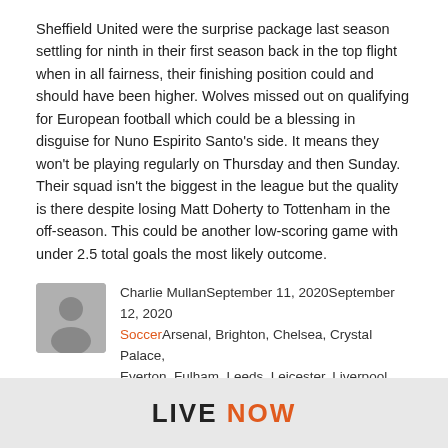Sheffield United were the surprise package last season settling for ninth in their first season back in the top flight when in all fairness, their finishing position could and should have been higher. Wolves missed out on qualifying for European football which could be a blessing in disguise for Nuno Espirito Santo's side. It means they won't be playing regularly on Thursday and then Sunday. Their squad isn't the biggest in the league but the quality is there despite losing Matt Doherty to Tottenham in the off-season. This could be another low-scoring game with under 2.5 total goals the most likely outcome.
Charlie MullanSeptember 11, 2020September 12, 2020SoccerArsenal, Brighton, Chelsea, Crystal Palace, Everton, Fulham, Leeds, Leicester, Liverpool, Newcastle, Premier League, Sheffield Utd, Southampton, Tottenham, West Brom, West Ham, WolvesLeave a comment
LIVE NOW